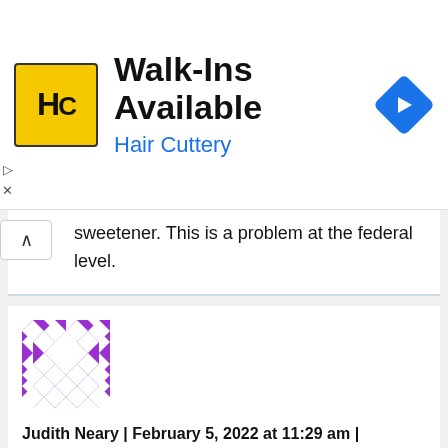[Figure (illustration): Hair Cuttery advertisement banner with yellow HC logo, 'Walk-Ins Available' heading, 'Hair Cuttery' subheading in blue, and a blue navigation diamond icon on the right]
sweetener. This is a problem at the federal level.
[Figure (illustration): Purple and white geometric avatar/profile picture with diamond quilt pattern]
Judith Neary | February 5, 2022 at 11:29 am | Reply
The article just tells you the why that having too much fat tissue is bad. Adipose tissue loses its ideal function in the body. It is a...